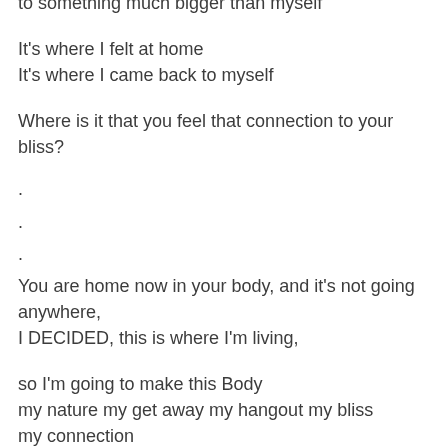to something much bigger than myself
It's where I felt at home
It's where I came back to myself
Where is it that you feel that connection to your bliss?
.
.
.
You are home now in your body, and it's not going anywhere,
I DECIDED, this is where I'm living,
so I'm going to make this Body
my nature my get away my hangout my bliss
my connection
and here I dropped into the utter grace of